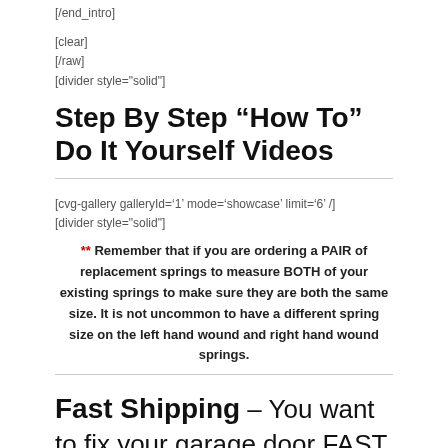[/end_intro]
[clear]
[/raw]
[divider style="solid"]
Step By Step “How To” Do It Yourself Videos
[cvg-gallery galleryId=‘1’ mode=‘showcase’ limit=‘6’ /]
[divider style="solid"]
** Remember that if you are ordering a PAIR of replacement springs to measure BOTH of your existing springs to make sure they are both the same size. It is not uncommon to have a different spring size on the left hand wound and right hand wound springs.
Fast Shipping – You want to fix your garage door FAST . . . Right?
Replacement Garage Door Torsion Spring